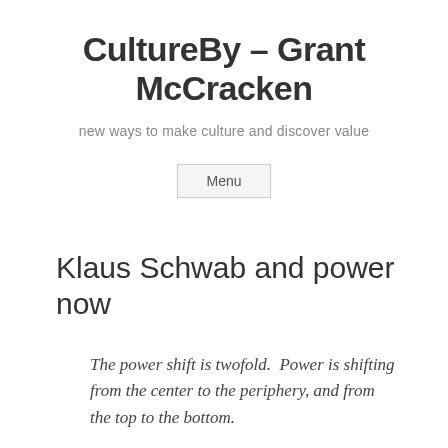CultureBy – Grant McCracken
new ways to make culture and discover value
Menu
Klaus Schwab and power now
The power shift is twofold.  Power is shifting from the center to the periphery, and from the top to the bottom.
This is the sort of thing we would expect to hear from the organizers of Burning Man or SxSW.